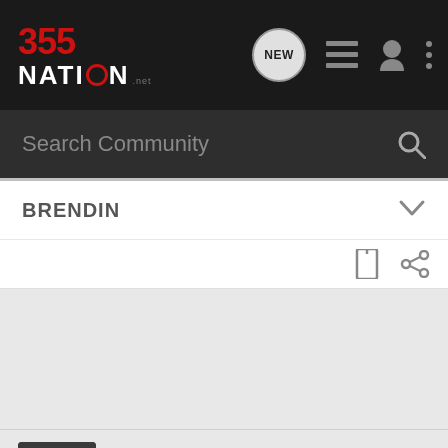355 Nation · NEW · Search Community
BRENDIN
cherokeecanyon · Registered
Joined Dec 12, 2013 · 362 Posts
Discussion Starter · #5 · Feb 21, 2014